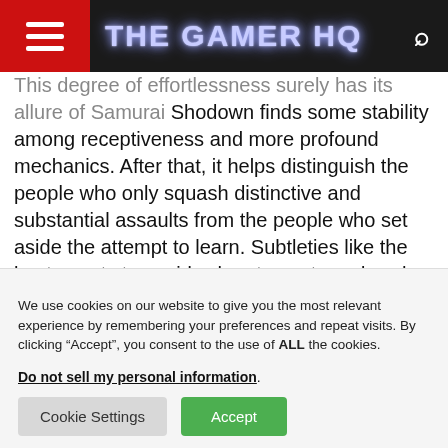THE GAMER HQ
This degree of effortlessness surely has its allure. Samurai Shodown finds some stability among receptiveness and more profound mechanics. After that, it helps distinguish the people who only squash distinctive and substantial assaults from the people who set aside the attempt to learn. Subtleties like the best events to avoid, when to spot evade, when to trigger fury blasts, when to use Lightning Blade assaults. Close your eyes, cross your fingers, and utilize a Darli Dagger punch to haul a triumph from nowhere are all
We use cookies on our website to give you the most relevant experience by remembering your preferences and repeat visits. By clicking “Accept”, you consent to the use of ALL the cookies.
Do not sell my personal information.